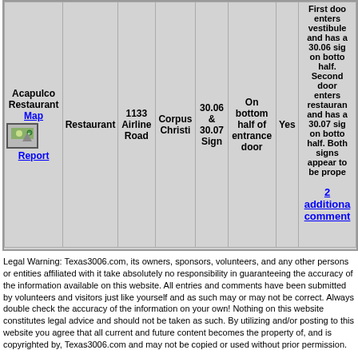| Name | Type | Address | City | Sign Info | Location | Accessible | Comments |
| --- | --- | --- | --- | --- | --- | --- | --- |
| Acapulco Restaurant
Map
Report | Restaurant | 1133 Airline Road | Corpus Christi | 30.06 & 30.07 Sign | On bottom half of entrance door | Yes | First door enters vestibule and has a 30.06 sign on bottom half. Second door enters restaurance and has a 30.07 sign on bottom half. Both signs appear to be proper...
2 additional comments |
Legal Warning: Texas3006.com, its owners, sponsors, volunteers, and any other persons or entities affiliated with it take absolutely no responsibility in guaranteeing the accuracy of the information available on this website. All entries and comments have been submitted by volunteers and visitors just like yourself and as such may or may not be correct. Always double check the accuracy of the information on your own! Nothing on this website constitutes legal advice and should not be taken as such. By utilizing and/or posting to this website you agree that all current and future content becomes the property of, and is copyrighted by, Texas3006.com and may not be copied or used without prior permission.